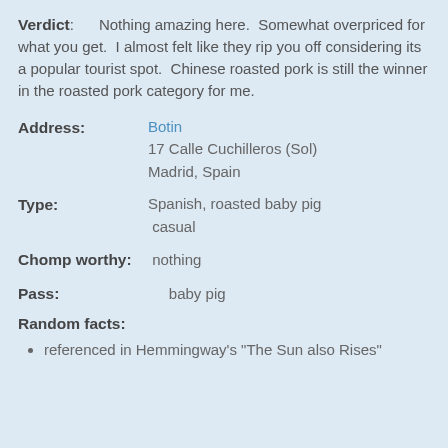Verdict: Nothing amazing here. Somewhat overpriced for what you get. I almost felt like they rip you off considering its a popular tourist spot. Chinese roasted pork is still the winner in the roasted pork category for me.
Address: Botin
17 Calle Cuchilleros (Sol)
Madrid, Spain
Type: Spanish, roasted baby pig casual
Chomp worthy: nothing
Pass: baby pig
Random facts:
referenced in Hemmingway's "The Sun also Rises"